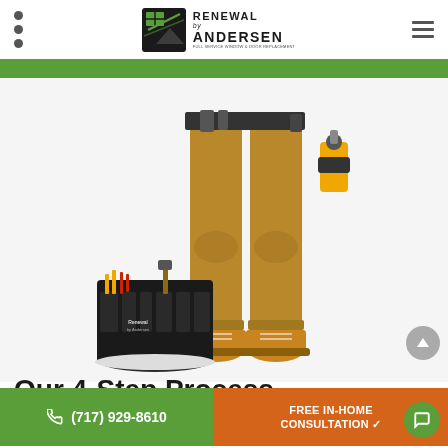[Figure (logo): Renewal by Andersen logo with stylized house/window graphic icon on left, text 'RENEWAL by ANDERSEN' on right with tagline 'FULL SERVICE WINDOW & DOOR REPLACEMENT']
[Figure (photo): Lower half of a person wearing khaki/tan work pants and tan work boots, holding a power drill, standing next to a black tool bag with Renewal by Andersen branding, on a white background]
Our 4-Step Process
Get professionally installed replacement windows & d
(717) 929-8610
FREE IN-HOME CONSULTATION ✓